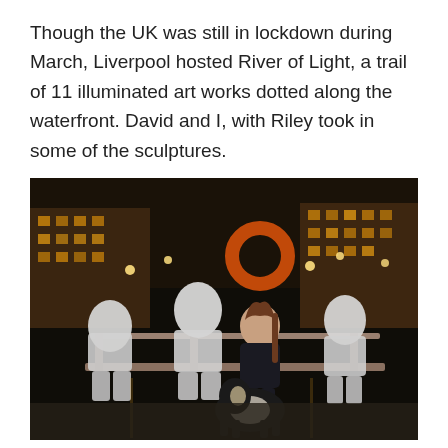Though the UK was still in lockdown during March, Liverpool hosted River of Light, a trail of 11 illuminated art works dotted along the waterfront. David and I, with Riley took in some of the sculptures.
[Figure (photo): Nighttime photo at Liverpool waterfront showing a woman and a dog (Border Collie) sitting on a bench among three white illuminated sculpture figures. Orange life ring visible in background. City lights and water visible behind.]